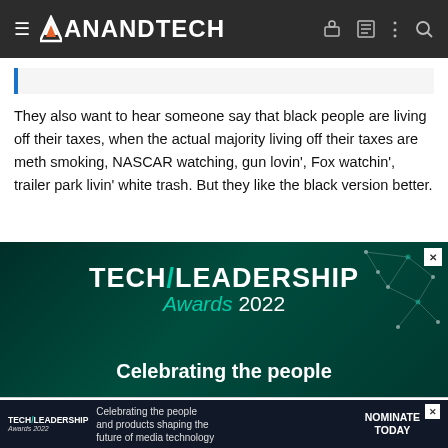AnandTech
They also want to hear someone say that black people are living off their taxes, when the actual majority living off their taxes are meth smoking, NASCAR watching, gun lovin', Fox watchin', trailer park livin' white trash. But they like the black version better.
[Figure (screenshot): Tech/Leadership Awards 2022 advertisement banner with dark teal background, geometric network design, and text 'Celebrating the people']
This site uses cookies to help personalise content, tailor your experience and to keep you logged in if you register. By continuing to use this site, you are consenting to our use of cookies.
[Figure (screenshot): Bottom mini advertisement for Tech/Leadership Awards 2022 with 'Celebrating the people and products shaping the future of media technology' and 'NOMINATE TODAY' button]